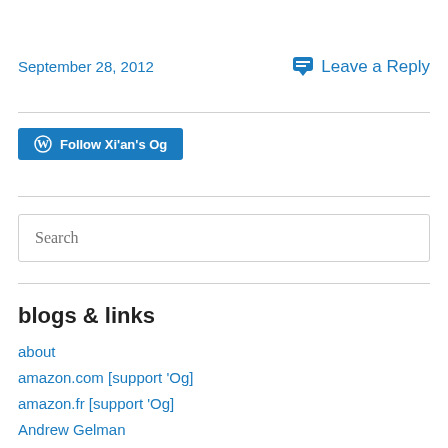September 28, 2012
Leave a Reply
[Figure (other): Follow Xi'an's Og WordPress follow button]
[Figure (other): Search input box with placeholder text 'Search']
blogs & links
about
amazon.com [support 'Og]
amazon.fr [support 'Og]
Andrew Gelman